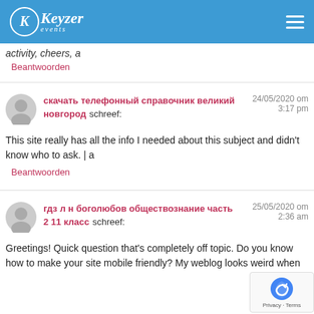Keyzer events
activity, cheers, a
Beantwoorden
скачать телефонный справочник великий новгород schreef: 24/05/2020 om 3:17 pm
This site really has all the info I needed about this subject and didn't know who to ask. | a
Beantwoorden
гдз л н боголюбов обществознание часть 2 11 класс schreef: 25/05/2020 om 2:36 am
Greetings! Quick question that's completely off topic. Do you know how to make your site mobile friendly? My weblog looks weird when